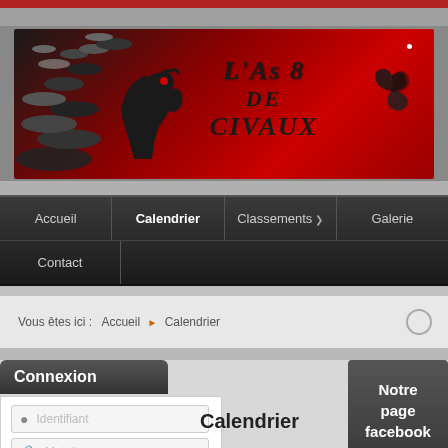[Figure (illustration): Banner image for 'L'As 8 de Civaux' poker club with red background, black horse/knight logo, decorative chips on left, triskel symbol on right, gothic text]
Accueil | Calendrier | Classements | Galerie | Contact
Vous êtes ici : Accueil ▶ Calendrier
Connexion
Identifiant
Calendrier
Mot de passe
Notre page facebook